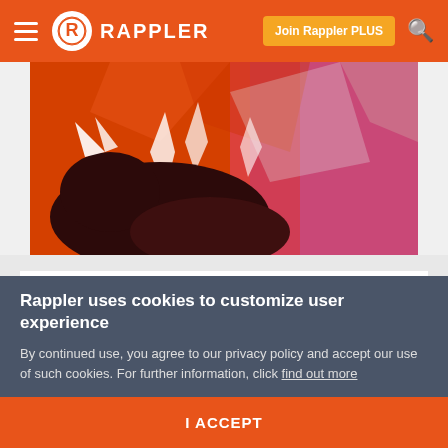Rappler — Join Rappler PLUS
[Figure (photo): Abstract colorful artwork with dark silhouettes against red, orange, and purple tones — part of an art exhibit display]
LOOK: Maria Ressa, Leila de Lima, Maria Lourdes Sereno star in exhibit on courage
Feb 04, 2020 - 9:31 PM
Young student-artists from the De La Salle-College of Saint
Rappler uses cookies to customize user experience
By continued use, you agree to our privacy policy and accept our use of such cookies. For further information, click find out more
I ACCEPT